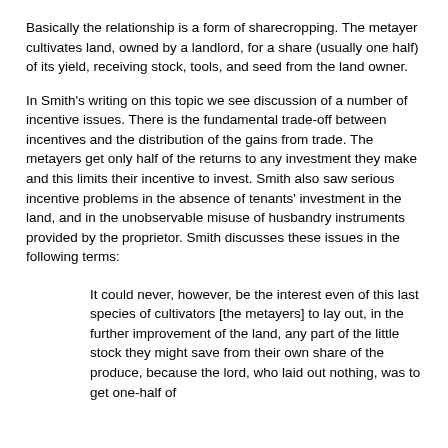Basically the relationship is a form of sharecropping. The metayer cultivates land, owned by a landlord, for a share (usually one half) of its yield, receiving stock, tools, and seed from the land owner.
In Smith's writing on this topic we see discussion of a number of incentive issues. There is the fundamental trade-off between incentives and the distribution of the gains from trade. The metayers get only half of the returns to any investment they make and this limits their incentive to invest. Smith also saw serious incentive problems in the absence of tenants' investment in the land, and in the unobservable misuse of husbandry instruments provided by the proprietor. Smith discusses these issues in the following terms:
It could never, however, be the interest even of this last species of cultivators [the metayers] to lay out, in the further improvement of the land, any part of the little stock they might save from their own share of the produce, because the lord, who laid out nothing, was to get one-half of